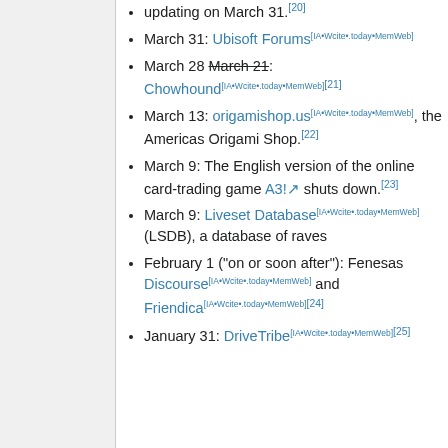updating on March 31.[20]
March 31: Ubisoft Forums[IA•Wcite•.today•MemWeb]
March 28 March 21: Chowhound[IA•Wcite•.today•MemWeb][21]
March 13: origamishop.us[IA•Wcite•.today•MemWeb], the Americas Origami Shop.[22]
March 9: The English version of the online card-trading game A3! shuts down.[23]
March 9: Liveset Database[IA•Wcite•.today•MemWeb] (LSDB), a database of raves
February 1 ("on or soon after"): Fenesas Discourse[IA•Wcite•.today•MemWeb] and Friendica[IA•Wcite•.today•MemWeb][24]
January 31: DriveTribe[IA•Wcite•.today•MemWeb][25]